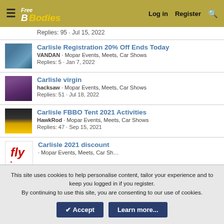Free B Bodies - Log in | Register
Replies: 95 · Jul 15, 2022
Carlisle Registration 20% Off Ends Today | VANDAN · Mopar Events, Meets, Car Shows | Replies: 5 · Jan 7, 2022
Carlisle virgin | hacksaw · Mopar Events, Meets, Car Shows | Replies: 51 · Jul 18, 2022
Carlisle FBBO Tent 2021 Activities | HawkRod · Mopar Events, Meets, Car Shows | Replies: 47 · Sep 15, 2021
Carlisle 2021 discount
This site uses cookies to help personalise content, tailor your experience and to keep you logged in if you register. By continuing to use this site, you are consenting to our use of cookies.